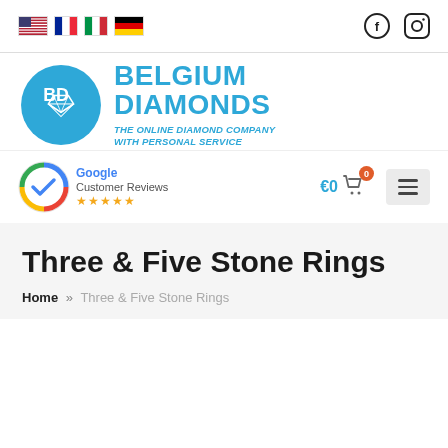[Figure (logo): Top navigation bar with country flags (USA, France, Italy, Germany) and social media icons (Facebook, Instagram)]
[Figure (logo): Belgium Diamonds logo with blue circle containing BD and diamond icon, blue text BELGIUM DIAMONDS, italic tagline THE ONLINE DIAMOND COMPANY WITH PERSONAL SERVICE]
[Figure (logo): Navigation bar with Google Customer Reviews badge with 5 stars, cart showing €0 with 0 badge, and hamburger menu button]
Three & Five Stone Rings
Home » Three & Five Stone Rings